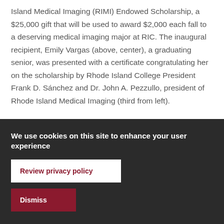Island Medical Imaging (RIMI) Endowed Scholarship, a $25,000 gift that will be used to award $2,000 each fall to a deserving medical imaging major at RIC. The inaugural recipient, Emily Vargas (above, center), a graduating senior, was presented with a certificate congratulating her on the scholarship by Rhode Island College President Frank D. Sánchez and Dr. John A. Pezzullo, president of Rhode Island Medical Imaging (third from left).
We use cookies on this site to enhance your user experience
Review privacy policy
Dismiss